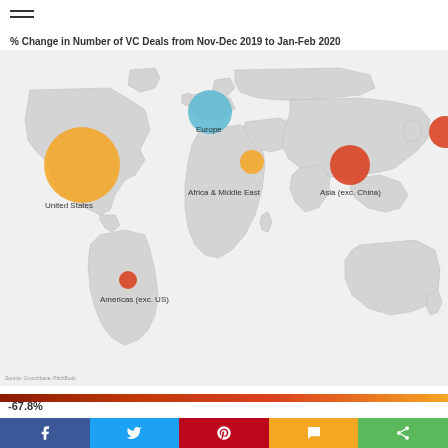☰
% Change in Number of VC Deals from Nov-Dec 2019 to Jan-Feb 2020
[Figure (map): World bubble map showing % change in number of VC deals from Nov-Dec 2019 to Jan-Feb 2020. Large orange bubble on United States, medium blue bubble on Europe, medium orange-red bubble on Asia (exc. China), small orange bubble on Africa & Middle East, small red bubble on Americas (exc. US). A partially visible red bubble appears at far right edge (China). Color scale bar from dark red to orange shown below map. Lowest value labeled -67.8%.]
-67.8%